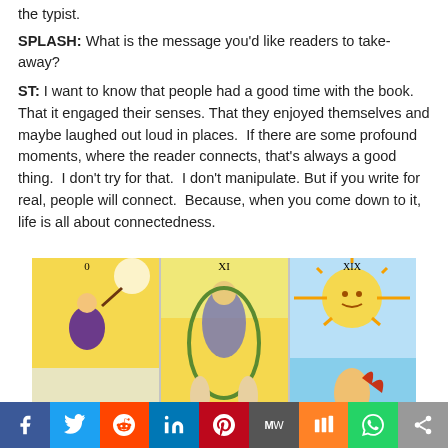the typist.
SPLASH: What is the message you'd like readers to take-away?
ST: I want to know that people had a good time with the book. That it engaged their senses. That they enjoyed themselves and maybe laughed out loud in places. If there are some profound moments, where the reader connects, that's always a good thing. I don't try for that. I don't manipulate. But if you write for real, people will connect. Because, when you come down to it, life is all about connectedness.
[Figure (photo): Three tarot cards side by side: The Fool (card 0), The World (card XI), and The Sun (card XIX) from a Rider-Waite tarot deck.]
Social sharing bar with Facebook, Twitter, Reddit, LinkedIn, Pinterest, MeWe, Mix, WhatsApp, Share buttons